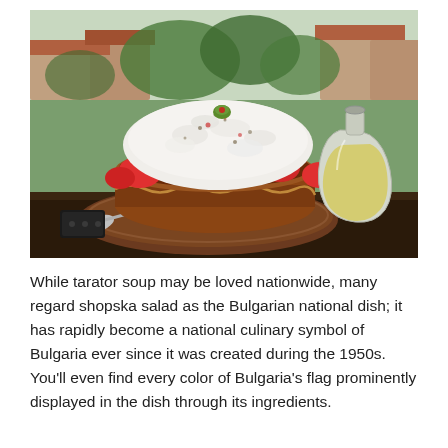[Figure (photo): A traditional Bulgarian shopska salad served in a brown ceramic bowl with decorative relief pattern, topped with grated white cheese (sirene), tomatoes visible around the edges, and a green olive on top. A spoon rests on the brown ceramic saucer beneath the bowl. A glass carafe of light yellow liquid (oil or wine) sits to the right. The background shows rooftops of a Bulgarian town with lush green trees and hills, suggesting an outdoor restaurant terrace setting.]
While tarator soup may be loved nationwide, many regard shopska salad as the Bulgarian national dish; it has rapidly become a national culinary symbol of Bulgaria ever since it was created during the 1950s. You'll even find every color of Bulgaria's flag prominently displayed in the dish through its ingredients.